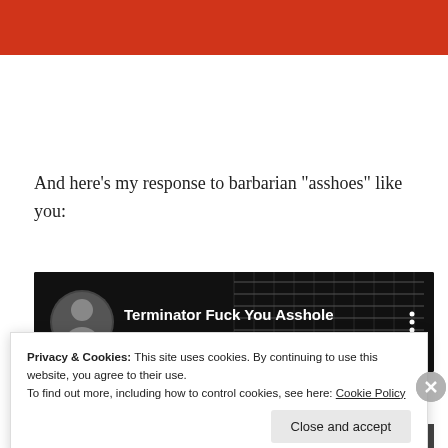[Figure (other): Red banner header bar at top of webpage]
And here’s my response to barbarian “asshoes” like you:
[Figure (screenshot): YouTube video thumbnail showing 'Terminator Fuck You Asshole' with dark background and channel avatar]
Privacy & Cookies: This site uses cookies. By continuing to use this website, you agree to their use.
To find out more, including how to control cookies, see here: Cookie Policy
Close and accept